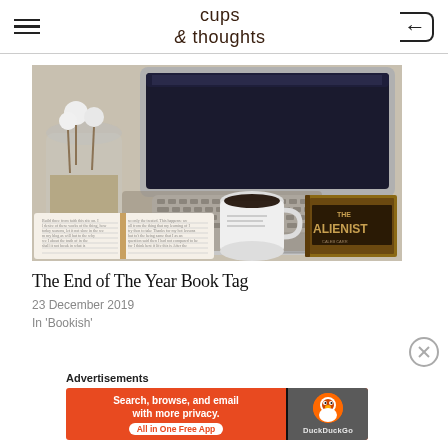cups & thoughts
[Figure (photo): Overhead view of a desk with an open MacBook laptop, a white coffee mug on a mouse pad, a glass jar with cotton flowers, an open handwritten journal/notebook, and a copy of the book 'The Alienist'.]
The End of The Year Book Tag
23 December 2019
In 'Bookish'
Advertisements
[Figure (screenshot): DuckDuckGo advertisement banner: 'Search, browse, and email with more privacy. All in One Free App' with DuckDuckGo logo on the right.]